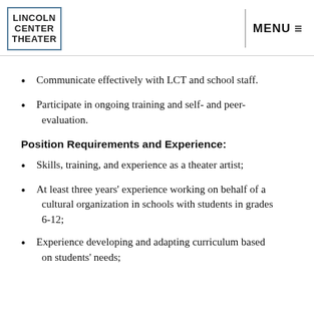LINCOLN CENTER THEATER | MENU
Communicate effectively with LCT and school staff.
Participate in ongoing training and self- and peer-evaluation.
Position Requirements and Experience:
Skills, training, and experience as a theater artist;
At least three years' experience working on behalf of a cultural organization in schools with students in grades 6-12;
Experience developing and adapting curriculum based on students' needs;